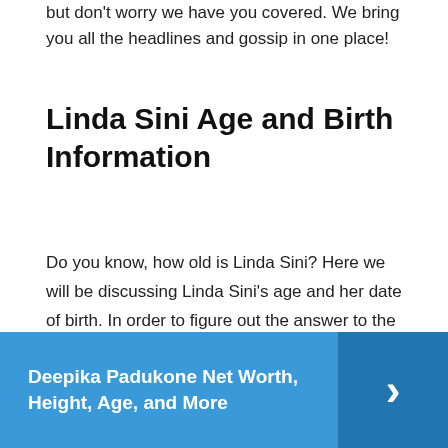but don't worry we have you covered. We bring you all the headlines and gossip in one place!
Linda Sini Age and Birth Information
Do you know, how old is Linda Sini? Here we will be discussing Linda Sini's age and her date of birth. In order to figure out the answer to the question posed in the title, you will need to look at Linda Sini's date of birth as well as her age. There are many different factors that can affect how quickly or slowly someone ages such as genetics, skin type, and health.
Deepika Padukone Net Worth, Height, Age, and More